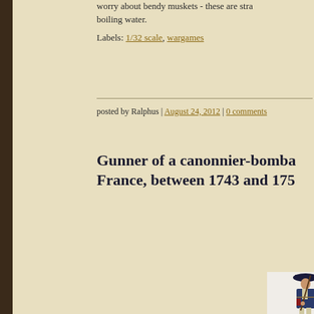worry about bendy muskets - these are str... boiling water.
Labels: 1/32 scale, wargames
posted by Ralphus | August 24, 2012 | 0 comments
Gunner of a canonnier-bomba... France, between 1743 and 175...
[Figure (illustration): Illustration of a French canonnier-bombardier gunner in uniform holding a musket, wearing a tricorn hat, dated between 1743 and 1757]